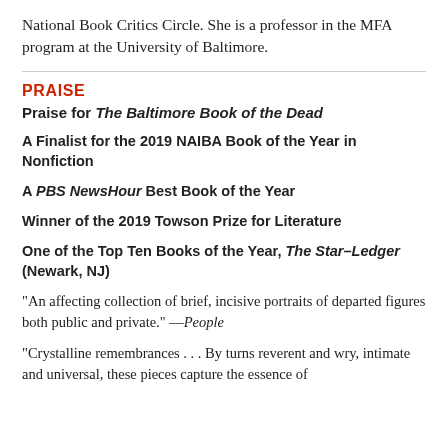National Book Critics Circle. She is a professor in the MFA program at the University of Baltimore.
PRAISE
Praise for The Baltimore Book of the Dead
A Finalist for the 2019 NAIBA Book of the Year in Nonfiction
A PBS NewsHour Best Book of the Year
Winner of the 2019 Towson Prize for Literature
One of the Top Ten Books of the Year, The Star–Ledger (Newark, NJ)
"An affecting collection of brief, incisive portraits of departed figures both public and private." —People
"Crystalline remembrances . . . By turns reverent and wry, intimate and universal, these pieces capture the essence of